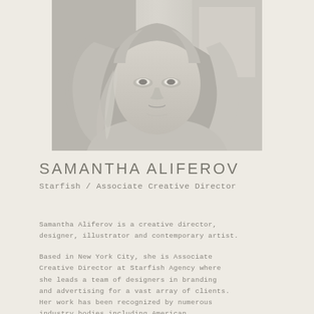[Figure (photo): Black and white portrait photo of Samantha Aliferov, a woman with long blonde hair, photographed from shoulders up]
SAMANTHA ALIFEROV
Starfish / Associate Creative Director
Samantha Aliferov is a creative director, designer, illustrator and contemporary artist.
Based in New York City, she is Associate Creative Director at Starfish Agency where she leads a team of designers in branding and advertising for a vast array of clients. Her work has been recognized by numerous industry bodies including American Illustration, The Society of Illustrators, GCSF, Instagram, and ADDY.
Samantha's passion for art, design, photography, language and strategic thinking allow her work to tell unique and timeless stories. Always thinking beyond the screen she brings her design into environmental